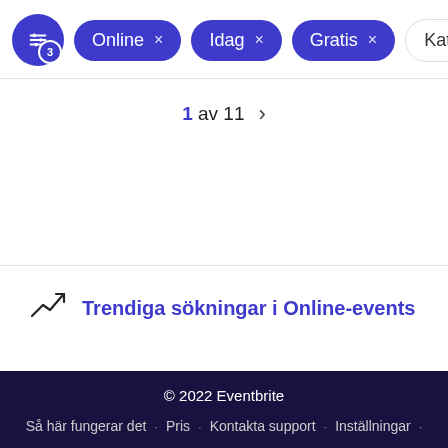Online × Idag × Gratis × Kateg
1 av 11 >
Trendiga sökningar i Online-events
© 2022 Eventbrite
Så här fungerar det · Pris · Kontakta support · Inställningar ·